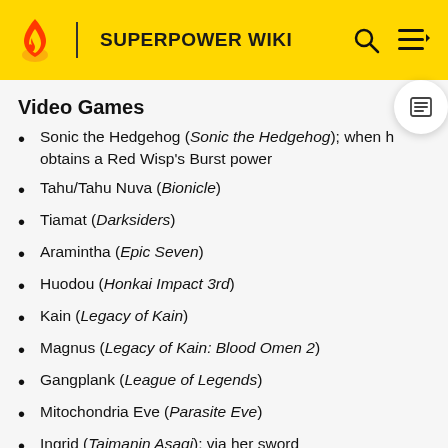SUPERPOWER WIKI
Video Games
Sonic the Hedgehog (Sonic the Hedgehog); when he obtains a Red Wisp's Burst power
Tahu/Tahu Nuva (Bionicle)
Tiamat (Darksiders)
Aramintha (Epic Seven)
Huodou (Honkai Impact 3rd)
Kain (Legacy of Kain)
Magnus (Legacy of Kain: Blood Omen 2)
Gangplank (League of Legends)
Mitochondria Eve (Parasite Eve)
Ingrid (Taimanin Asagi); via her sword
Cartoons/Comics
The Scorcher (Adventure Time)